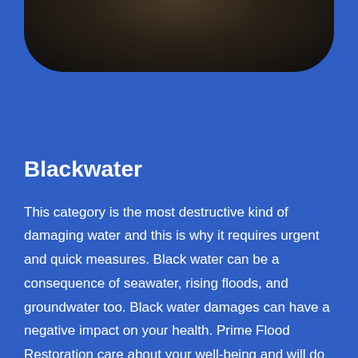[Figure (photo): Dark background image of water or flood scene, partially visible at the top of the page, cropped with rounded bottom corners]
Blackwater
This category is the most destructive kind of damaging water and this is why it requires urgent and quick measures. Black water can be a consequence of seawater, rising floods, and groundwater too. Black water damages can have a negative impact on your health. Prime Flood Restoration care about your well-being and will do the necessary to sanitize your home after the [classification of remaining text cut off]